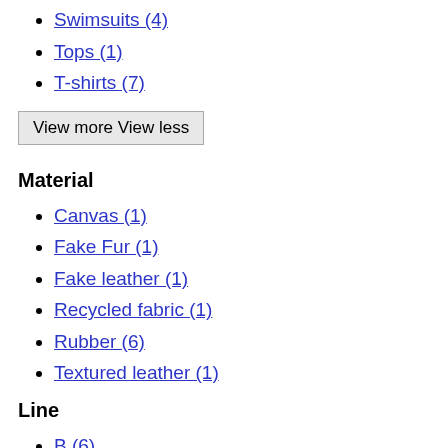Swimsuits (4)
Tops (1)
T-shirts (7)
View more View less
Material
Canvas (1)
Fake Fur (1)
Fake leather (1)
Recycled fabric (1)
Rubber (6)
Textured leather (1)
Line
B (6)
BB (10)
Bow (1)
Cagole (1)
Chunky (2)
Cites (6)
Crocs (3)